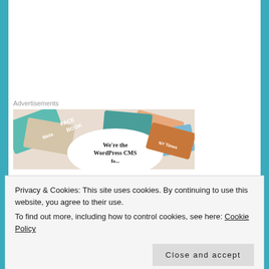Advertisements
[Figure (illustration): Advertisement banner showing colorful cards with Meta, Facebook text and overlay saying We're the WordPress CMS for You...]
I'm Not Missing – Carrie Fountain
[Figure (illustration): Dark blue illustrated book cover with colorful geometric shapes and stars]
Privacy & Cookies: This site uses cookies. By continuing to use this website, you agree to their use.
To find out more, including how to control cookies, see here: Cookie Policy
Close and accept